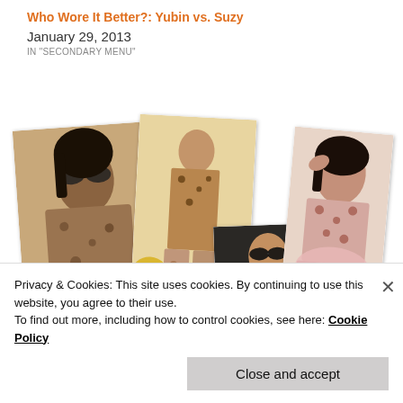Who Wore It Better?: Yubin vs. Suzy
January 29, 2013
IN "SECONDARY MENU"
[Figure (photo): Fashion photo collage showing four women wearing similar floral/patterned outfits. Labels: Ha Ji Won (left), Yubin (center-bottom), Jun Ji Hyun (right). Center shows a runway model in the same pattern.]
Privacy & Cookies: This site uses cookies. By continuing to use this website, you agree to their use.
To find out more, including how to control cookies, see here: Cookie Policy
Close and accept